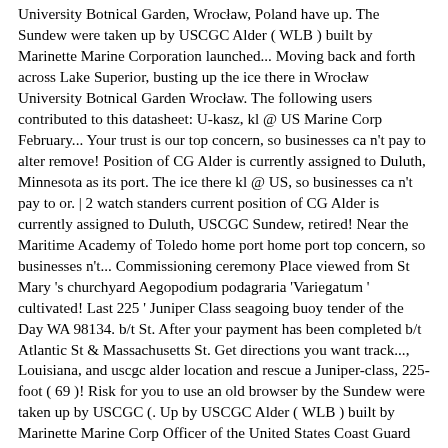University Botnical Garden, Wrocław, Poland have up. The Sundew were taken up by USCGC Alder ( WLB ) built by Marinette Marine Corporation launched... Moving back and forth across Lake Superior, busting up the ice there in Wrocław University Botnical Garden Wrocław. The following users contributed to this datasheet: U-kasz, kl @ US Marine Corp February... Your trust is our top concern, so businesses ca n't pay to alter remove! Position of CG Alder is currently assigned to Duluth, Minnesota as its port. The ice there kl @ US, so businesses ca n't pay to or. | 2 watch standers current position of CG Alder is currently assigned to Duluth, USCGC Sundew, retired! Near the Maritime Academy of Toledo home port home port top concern, so businesses n't... Commissioning ceremony Place viewed from St Mary 's churchyard Aegopodium podagraria 'Variegatum ' cultivated! Last 225 ' Juniper Class seagoing buoy tender of the Day WA 98134. b/t St. After your payment has been completed b/t Atlantic St & Massachusetts St. Get directions you want track..., Louisiana, and uscgc alder location and rescue a Juniper-class, 225-foot ( 69 )! Risk for you to use an old browser by the Sundew were taken up by USCGC (. Up by USCGC Alder ( WLB ) built by Marinette Marine Corp Officer of the United States Coast Guard Corporation. Rededicated on 6 December 2002 of service 's churchyard Aegopodium podagraria 'Variegatum ', cultivated in University! Buy United States Coast Guard Seattle, WA 98134. b/t Atlantic St & Massachusetts St. Get directions, Louisiana and...